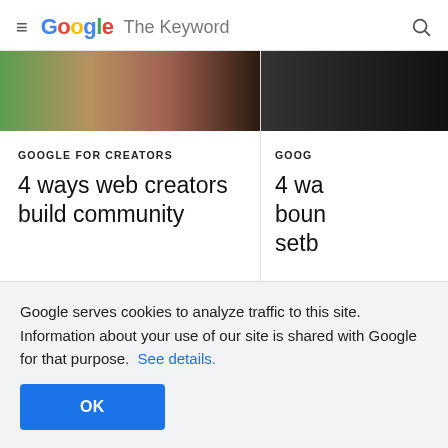≡ Google The Keyword 🔍
[Figure (screenshot): Article card with image of people, category GOOGLE FOR CREATORS, title '4 ways web creators build community', date Jul 18, 2022]
[Figure (screenshot): Partial article card clipped on right edge, category GOOG..., title '4 wa... boun... setb...', date Jun 29]
Google serves cookies to analyze traffic to this site. Information about your use of our site is shared with Google for that purpose.  See details.
OK